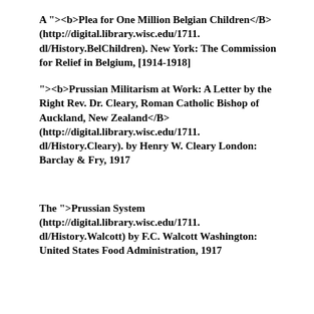A "><b>Plea for One Million Belgian Children</B> (http://digital.library.wisc.edu/1711.dl/History.BelChildren). New York: The Commission for Relief in Belgium, [1914-1918]
"><b>Prussian Militarism at Work: A Letter by the Right Rev. Dr. Cleary, Roman Catholic Bishop of Auckland, New Zealand</B> (http://digital.library.wisc.edu/1711.dl/History.Cleary). by Henry W. Cleary London: Barclay & Fry, 1917
The ">Prussian System (http://digital.library.wisc.edu/1711.dl/History.Walcott) by F.C. Walcott Washington: United States Food Administration, 1917